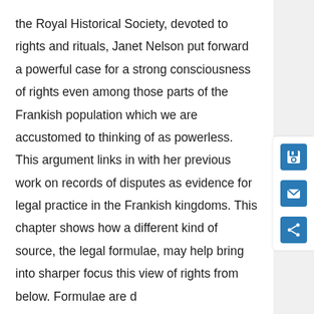the Royal Historical Society, devoted to rights and rituals, Janet Nelson put forward a powerful case for a strong consciousness of rights even among those parts of the Frankish population which we are accustomed to thinking of as powerless. This argument links in with her previous work on records of disputes as evidence for legal practice in the Frankish kingdoms. This chapter shows how a different kind of source, the legal formulae, may help bring into sharper focus this view of rights from below. Formulae are d
… Show More